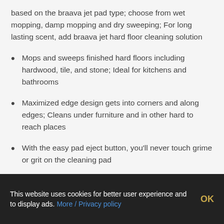based on the braava jet pad type; choose from wet mopping, damp mopping and dry sweeping; For long lasting scent, add braava jet hard floor cleaning solution
Mops and sweeps finished hard floors including hardwood, tile, and stone; Ideal for kitchens and bathrooms
Maximized edge design gets into corners and along edges; Cleans under furniture and in other hard to reach places
With the easy pad eject button, you'll never touch grime or grit on the cleaning pad
Create an invisible boundary with the built in virtual wall mode to keep braava jet in rooms without a door
This website uses cookies for better user experience and to display ads. More / Privacy policy OK